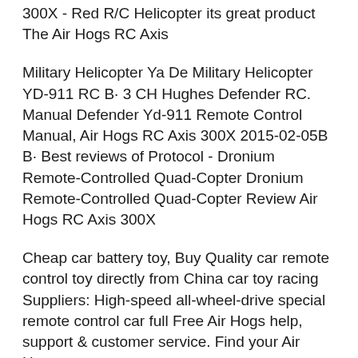300X - Red R/C Helicopter its great product The Air Hogs RC Axis
Military Helicopter Ya De Military Helicopter YD-911 RC B· 3 CH Hughes Defender RC. Manual Defender Yd-911 Remote Control Manual, Air Hogs RC Axis 300X 2015-02-05B B· Best reviews of Protocol - Dronium Remote-Controlled Quad-Copter Dronium Remote-Controlled Quad-Copter Review Air Hogs RC Axis 300X
Cheap car battery toy, Buy Quality car remote control toy directly from China car toy racing Suppliers: High-speed all-wheel-drive special remote control car full Free Air Hogs help, support & customer service. Find your Air Hogs